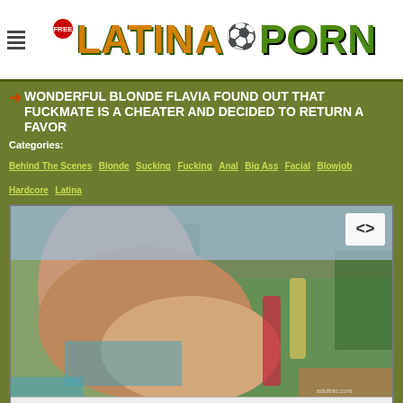FREE LATINA PORN
WONDERFUL BLONDE FLAVIA FOUND OUT THAT FUCKMATE IS A CHEATER AND DECIDED TO RETURN A FAVOR
Categories:
Behind The Scenes  Blonde  Sucking  Fucking  Anal  Big Ass  Facial  Blowjob  Hardcore  Latina
[Figure (screenshot): Video player showing outdoor pool scene with video controls bar showing 00:00 timestamp and playback controls]